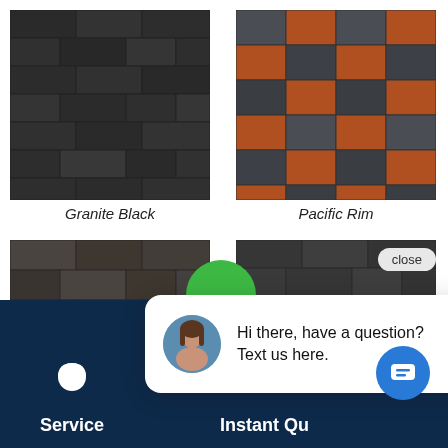[Figure (photo): Close-up photo of dark charcoal/black roof shingles texture labeled Granite Black]
[Figure (photo): Close-up photo of mixed dark gray and rust/terracotta roof shingles texture labeled Pacific Rim]
Granite Black
Pacific Rim
[Figure (photo): Close-up photo of dark brownish-gray roof shingles texture, partially visible]
[Figure (photo): Close-up photo of dark gray roof shingles texture, partially visible with close button overlay]
[Figure (screenshot): Chat popup widget with woman avatar and text: Hi there, have a question? Text us here.]
Hi there, have a question? Text us here.
close
Service
Instant Qu